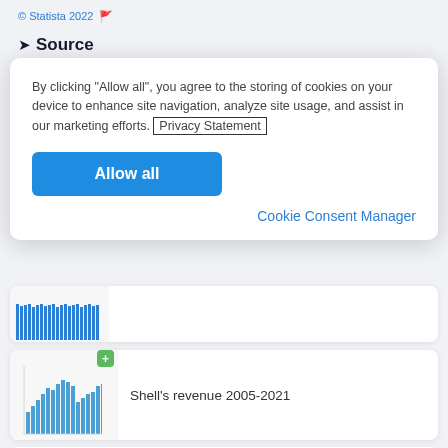© Statista 2022
Source
By clicking "Allow all", you agree to the storing of cookies on your device to enhance site navigation, analyze site usage, and assist in our marketing efforts. Privacy Statement
Allow all
Cookie Consent Manager
[Figure (other): Thumbnail of a bar chart, partially visible]
[Figure (bar-chart): Shell's revenue 2005-2021 bar chart thumbnail with blue bars]
Shell's revenue 2005-2021